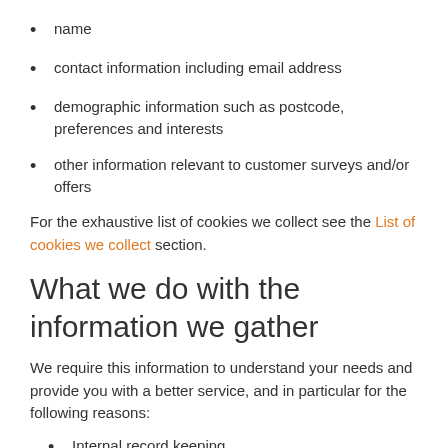name
contact information including email address
demographic information such as postcode, preferences and interests
other information relevant to customer surveys and/or offers
For the exhaustive list of cookies we collect see the List of cookies we collect section.
What we do with the information we gather
We require this information to understand your needs and provide you with a better service, and in particular for the following reasons:
Internal record keeping.
We may use the information to improve our products and